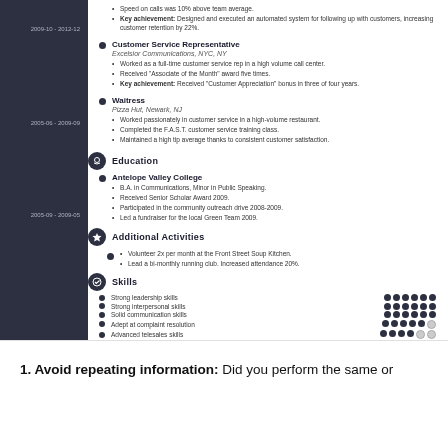Speed on calls was 10% above team average.
Key achievement: Designed and executed an automated system for following up with customers, increasing customer retention by 22%.
Customer Service Representative
Excelsior Communications, NYC, NY
Worked as a full-time customer service rep in a high volume call center.
Received 'Associate of the Month' award five times.
Key achievement: Received 'Customer Appreciation' bonus in three of four years.
Waitress
Pizza Hut, Newark, NJ
Worked passionately in customer service in a high-volume restaurant.
Completed the F.A.S.T. customer service training class.
Maintained a high tip average thanks to consistent customer satisfaction.
Education
Antelope Valley College
B.A. in Communications, Minor in Public Speaking.
Received Senior Scholar Award 2009.
Participated in the community outreach drive 2008-2009.
Led a fundraiser for the local Green Team 2009.
Additional Activities
Volunteer 2x per month at the Front Street Soup Kitchen.
Lead a bi-monthly running club. Increased attendance 20%.
Skills
Strong leadership skills
Strong interpersonal skills
Solid communication skills
Adept at complaint resolution
Advanced telesales skills
Cross-selling
1. Avoid repeating information: Did you perform the same or